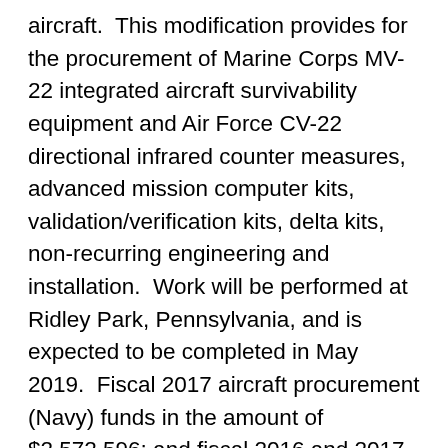aircraft.  This modification provides for the procurement of Marine Corps MV-22 integrated aircraft survivability equipment and Air Force CV-22 directional infrared counter measures, advanced mission computer kits, validation/verification kits, delta kits, non-recurring engineering and installation.  Work will be performed at Ridley Park, Pennsylvania, and is expected to be completed in May 2019.  Fiscal 2017 aircraft procurement (Navy) funds in the amount of $2,572,596; and fiscal 2016 and 2017 aircraft procurement (Air Force) funds in the amount of $5,099,090 will be obligated at time of award, none of which will expire at the end of the current fiscal year.  The Naval Air Systems Command, Patuxent River, Maryland is